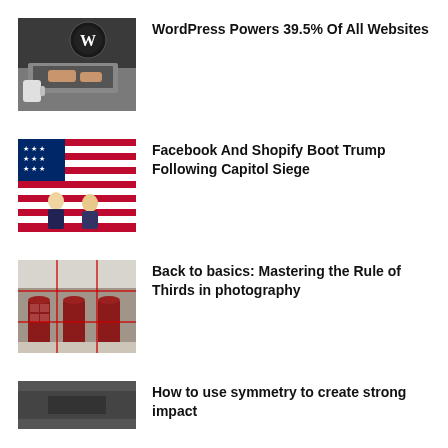[Figure (photo): Person wearing a WordPress t-shirt typing on a laptop, with a coffee mug nearby]
WordPress Powers 39.5% Of All Websites
[Figure (photo): Two people in suits standing in front of a large American flag]
Facebook And Shopify Boot Trump Following Capitol Siege
[Figure (photo): Red British phone boxes in front of a stone building with red grid overlay lines for rule of thirds]
Back to basics: Mastering the Rule of Thirds in photography
[Figure (photo): Partially visible photograph at bottom of page]
How to use symmetry to create strong impact